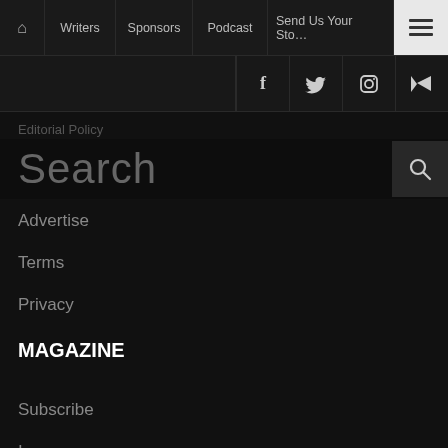Home | Writers | Sponsors | Podcast | Send Us Your Story | Menu
Facebook | Twitter | Instagram | RSS
Editorial Policy
Search
Advertise
Terms
Privacy
MAGAZINE
Subscribe
Issues
Sponsors